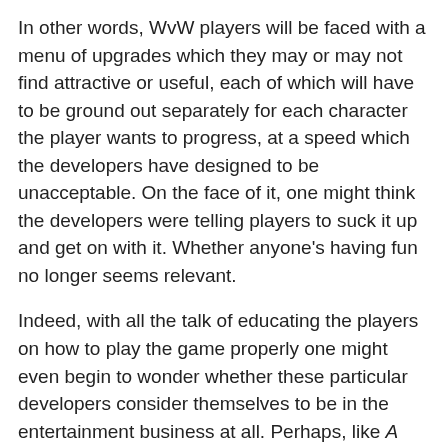In other words, WvW players will be faced with a menu of upgrades which they may or may not find attractive or useful, each of which will have to be ground out separately for each character the player wants to progress, at a speed which the developers have designed to be unacceptable. On the face of it, one might think the developers were telling players to suck it up and get on with it. Whether anyone's having fun no longer seems relevant.
Indeed, with all the talk of educating the players on how to play the game properly one might even begin to wonder whether these particular developers consider themselves to be in the entertainment business at all. Perhaps, like A Tale In The Desert, we should consider GW2 more in the light of a sociological experiment than a game.
[Figure (photo): Screenshot from a fantasy game showing characters in a lush outdoor environment with trees, rocks, and colorful foliage. A character in red is visible.]